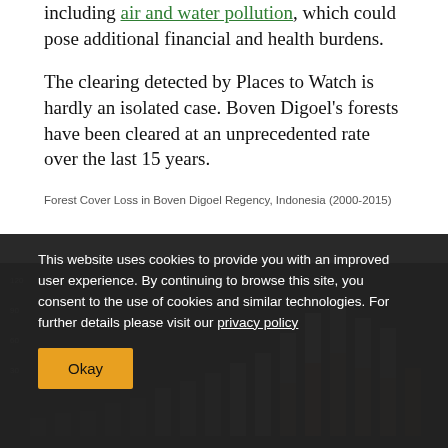including air and water pollution, which could pose additional financial and health burdens.
The clearing detected by Places to Watch is hardly an isolated case. Boven Digoel's forests have been cleared at an unprecedented rate over the last 15 years.
Forest Cover Loss in Boven Digoel Regency, Indonesia (2000-2015)
[Figure (bar-chart): Bar chart partially visible behind cookie consent overlay showing forest cover loss data from 2000 to 2015]
This website uses cookies to provide you with an improved user experience. By continuing to browse this site, you consent to the use of cookies and similar technologies. For further details please visit our privacy policy
Okay